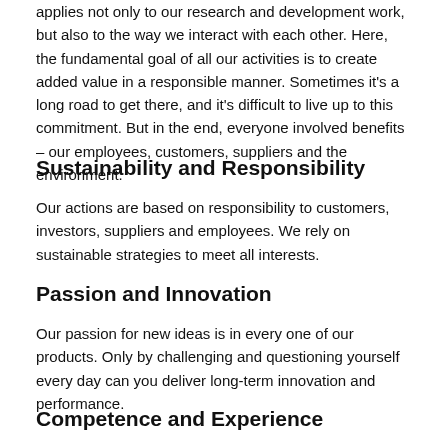applies not only to our research and development work, but also to the way we interact with each other. Here, the fundamental goal of all our activities is to create added value in a responsible manner. Sometimes it's a long road to get there, and it's difficult to live up to this commitment. But in the end, everyone involved benefits – our employees, customers, suppliers and the environment.
Sustainability and Responsibility
Our actions are based on responsibility to customers, investors, suppliers and employees. We rely on sustainable strategies to meet all interests.
Passion and Innovation
Our passion for new ideas is in every one of our products. Only by challenging and questioning yourself every day can you deliver long-term innovation and performance.
Competence and Experience